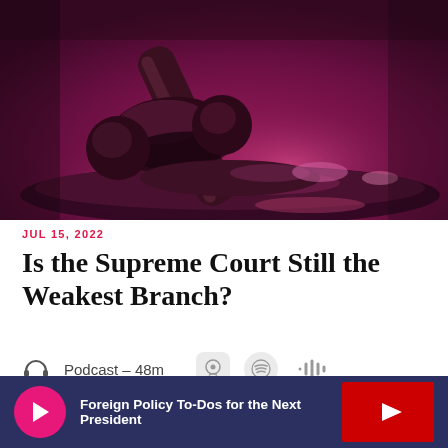[Figure (photo): Close-up photograph of a judge's wooden gavel resting on a sound block, with deep purple/magenta toned lighting creating a dramatic, moody atmosphere.]
JUL 15, 2022
Is the Supreme Court Still the Weakest Branch?
Podcast — 48m
Foreign Policy To-Dos for the Next President